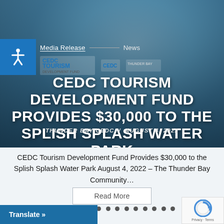[Figure (photo): Hero banner photo: man smiling holding a large cheque, with CEDC Tourism Development Fund and Thunder Bay logos overlaid. Blue-toned water park background.]
CEDC TOURISM DEVELOPMENT FUND PROVIDES $30,000 TO THE SPLISH SPLASH WATER PARK
THUNDER BAY CEDC / AUGUST 4, 2022
CEDC Tourism Development Fund Provides $30,000 to the Splish Splash Water Park August 4, 2022 – The Thunder Bay Community...
Read More
Translate »